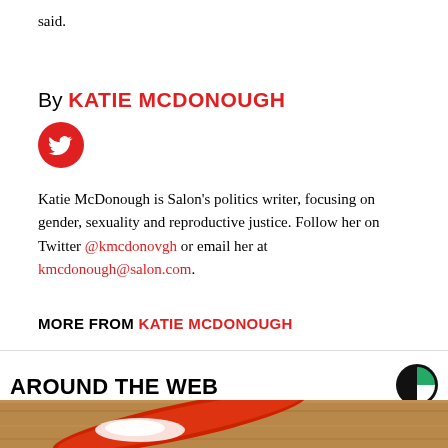said.
By KATIE MCDONOUGH
[Figure (logo): Twitter bird icon in red circle]
Katie McDonough is Salon's politics writer, focusing on gender, sexuality and reproductive justice. Follow her on Twitter @kmcdonovgh or email her at kmcdonough@salon.com.
MORE FROM KATIE MCDONOUGH
AROUND THE WEB
[Figure (logo): Circular logo with green and black segments]
[Figure (photo): Close-up photo of a red spoon or scoop with white powder on a wooden surface]